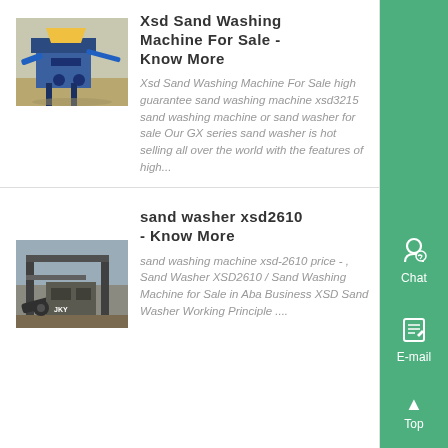Xsd Sand Washing Machine For Sale - Know More
[Figure (photo): Photo of XSD sand washing machine - industrial blue machinery on a construction site]
Xsd Sand Washing Machine For Sale high guarantee sand washing machine xsd3215 sand washing machine or sand washer for sale Our GX series sand washer is hot selling all over the world with the features of high...
sand washer xsd2610 - Know More
[Figure (photo): Photo of XSD2610 sand washer machine - dark industrial machinery with JKY branding]
sand washing machine xsd-2610 price - , Sand Washer XSD2610 / Sand Washing Machine for Sale in Aba Business XSD Sand Washer Working Principle ....